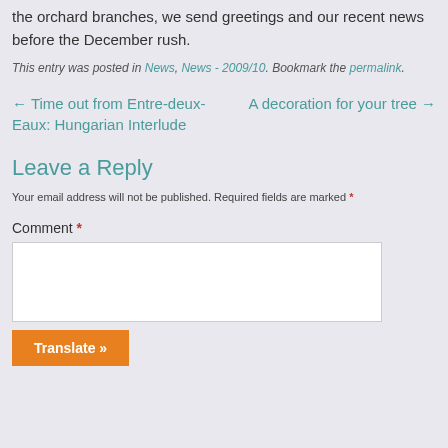the orchard branches, we send greetings and our recent news before the December rush.
This entry was posted in News, News - 2009/10. Bookmark the permalink.
← Time out from Entre-deux-Eaux: Hungarian Interlude
A decoration for your tree →
Leave a Reply
Your email address will not be published. Required fields are marked *
Comment *